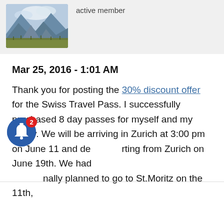[Figure (photo): Mountain landscape photo used as user avatar, showing rocky mountains with snow and grassy foreground]
active member
Mar 25, 2016 - 1:01 AM
Thank you for posting the 30% discount offer for the Swiss Travel Pass. I successfully purchased 8 day passes for myself and my family. We will be arriving in Zurich at 3:00 pm on June 11 and departing from Zurich on June 19th. We had originally planned to go to St.Moritz on the 11th,